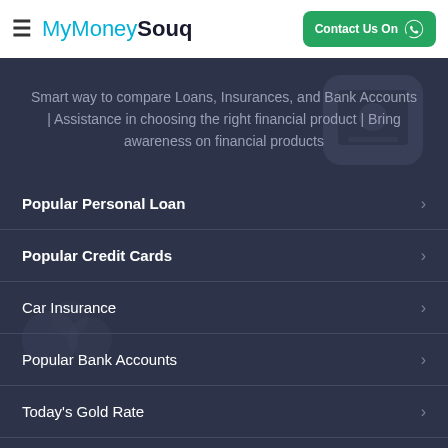MyMoneySouq | Contact Us On
Smart way to compare Loans, Insurances, and Bank Accounts | Assistance in choosing the right financial product | Bring awareness on financial products
Popular Personal Loan
Popular Credit Cards
Car Insurance
Popular Bank Accounts
Today's Gold Rate
Calculators
Stock brokers In UAE